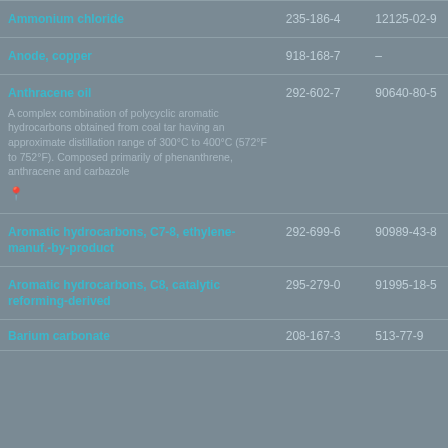| Substance | EC Number | CAS Number |
| --- | --- | --- |
| Ammonium chloride | 235-186-4 | 12125-02-9 |
| Anode, copper | 918-168-7 | – |
| Anthracene oil
A complex combination of polycyclic aromatic hydrocarbons obtained from coal tar having an approximate distillation range of 300°C to 400°C (572°F to 752°F). Composed primarily of phenanthrene, anthracene and carbazole | 292-602-7 | 90640-80-5 |
| Aromatic hydrocarbons, C7-8, ethylene-manuf.-by-product | 292-699-6 | 90989-43-8 |
| Aromatic hydrocarbons, C8, catalytic reforming-derived | 295-279-0 | 91995-18-5 |
| Barium carbonate | 208-167-3 | 513-77-9 |